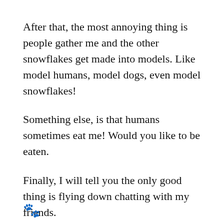After that, the most annoying thing is people gather me and the other snowflakes get made into models. Like model humans, model dogs, even model snowflakes!
Something else, is that humans sometimes eat me! Would you like to be eaten.
Finally, I will tell you the only good thing is flying down chatting with my friends.
Yours sincerely
Snow.
[Figure (illustration): Small decorative image at the bottom left of the page, partially visible, appears to be a small animal or character illustration.]